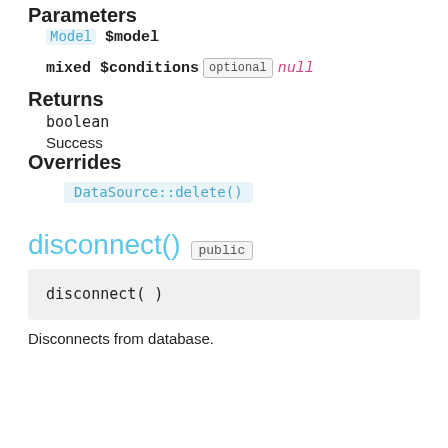Parameters
Model $model
mixed $conditions optional null
Returns
boolean
Success
Overrides
DataSource::delete()
disconnect()  public
disconnect( )
Disconnects from database.